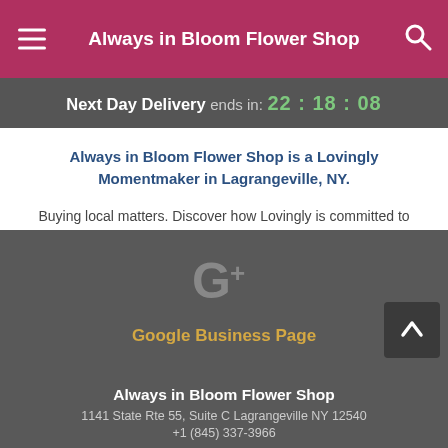Always in Bloom Flower Shop
Next Day Delivery ends in: 22:18:08
Always in Bloom Flower Shop is a Lovingly Momentmaker in Lagrangeville, NY.
Buying local matters. Discover how Lovingly is committed to strengthening relationships by helping local florists market, sell, and deliver their floral designs online.
[Figure (logo): Google+ logo icon in grey]
Google Business Page
Always in Bloom Flower Shop
1141 State Rte 55, Suite C Lagrangeville NY 12540
+1 (845) 337-3966